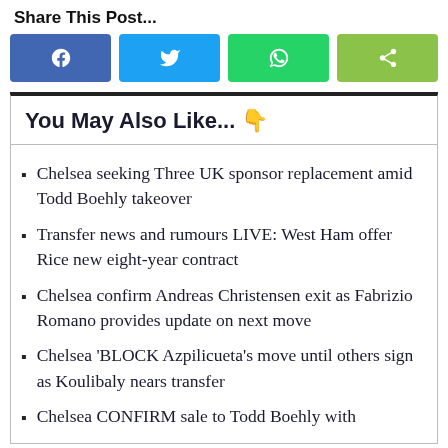Share This Post...
[Figure (infographic): Social share buttons: Facebook (blue), Twitter (light blue), WhatsApp (green), generic share (yellow-green)]
You May Also Like... 👇
Chelsea seeking Three UK sponsor replacement amid Todd Boehly takeover
Transfer news and rumours LIVE: West Ham offer Rice new eight-year contract
Chelsea confirm Andreas Christensen exit as Fabrizio Romano provides update on next move
Chelsea 'BLOCK Azpilicueta's move until others sign as Koulibaly nears transfer
Chelsea CONFIRM sale to Todd Boehly with